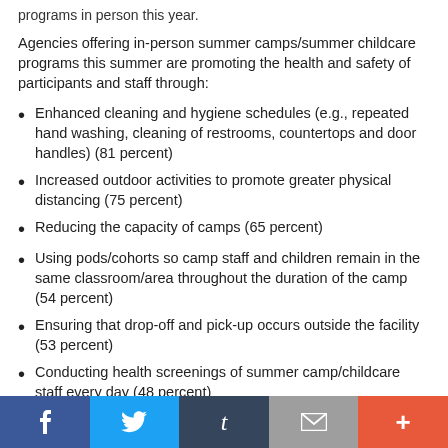programs in person this year.
Agencies offering in-person summer camps/summer childcare programs this summer are promoting the health and safety of participants and staff through:
Enhanced cleaning and hygiene schedules (e.g., repeated hand washing, cleaning of restrooms, countertops and door handles) (81 percent)
Increased outdoor activities to promote greater physical distancing (75 percent)
Reducing the capacity of camps (65 percent)
Using pods/cohorts so camp staff and children remain in the same classroom/area throughout the duration of the camp (54 percent)
Ensuring that drop-off and pick-up occurs outside the facility (53 percent)
Conducting health screenings of summer camp/childcare staff every day (48 percent)
Social sharing bar: Facebook, Twitter, Tumblr, Email, More